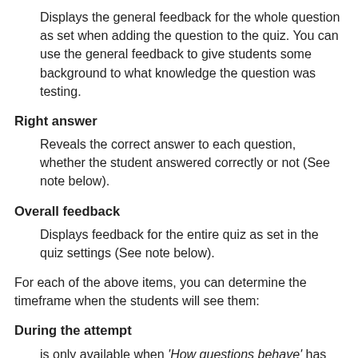Displays the general feedback for the whole question as set when adding the question to the quiz. You can use the general feedback to give students some background to what knowledge the question was testing.
Right answer
Reveals the correct answer to each question, whether the student answered correctly or not (See note below).
Overall feedback
Displays feedback for the entire quiz as set in the quiz settings (See note below).
For each of the above items, you can determine the timeframe when the students will see them:
During the attempt
is only available when ‘How questions behave’ has been set to ‘Immediate feedback’. ‘Immediate